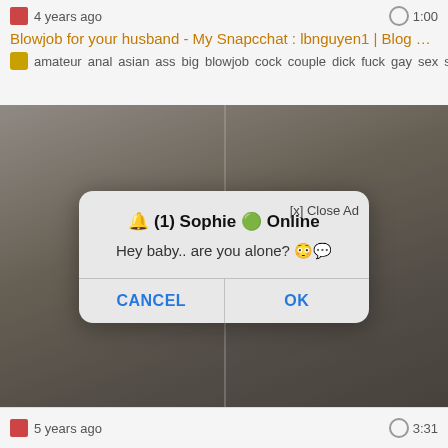4 years ago   1:00
Blowjob for your husband - My Snapcchat : lbnguyen1 | Blog Site : http...
amateur anal asian ass big blowjob cock couple dick fuck gay sex sex,...
[Figure (screenshot): Blurred/censored adult video thumbnail background split into two panels]
🔔 (1) Sophie 🟢 Online
Hey baby.. are you alone? 😳💬
CANCEL   OK
5 years ago   3:31